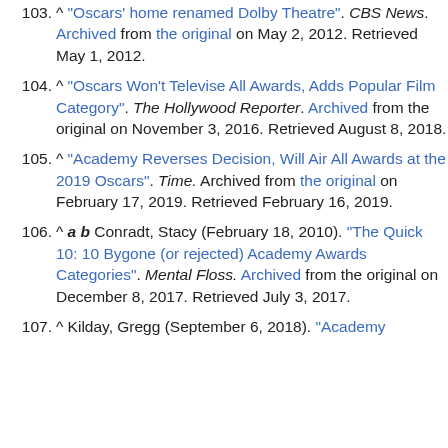103. ^ "Oscars' home renamed Dolby Theatre". CBS News. Archived from the original on May 2, 2012. Retrieved May 1, 2012.
104. ^ "Oscars Won't Televise All Awards, Adds Popular Film Category". The Hollywood Reporter. Archived from the original on November 3, 2016. Retrieved August 8, 2018.
105. ^ "Academy Reverses Decision, Will Air All Awards at the 2019 Oscars". Time. Archived from the original on February 17, 2019. Retrieved February 16, 2019.
106. ^ a b Conradt, Stacy (February 18, 2010). "The Quick 10: 10 Bygone (or rejected) Academy Awards Categories". Mental Floss. Archived from the original on December 8, 2017. Retrieved July 3, 2017.
107. ^ Kilday, Gregg (September 6, 2018). "Academy...